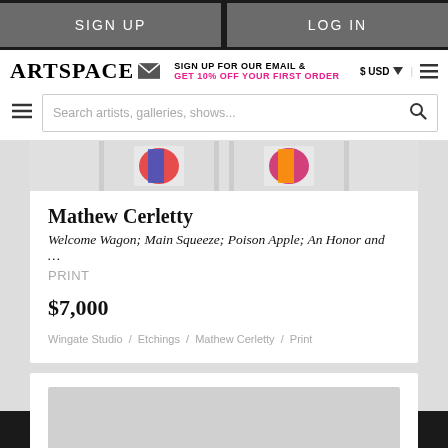SIGN UP | LOG IN
[Figure (screenshot): Artspace website header with logo, email signup promo, USD selector, search bar]
Mathew Cerletty
Welcome Wagon; Main Squeeze; Poison Apple; An Honor and …
PRINT
$7,000
Wingate Studio / Etchings / Mathew Cerletty / Print